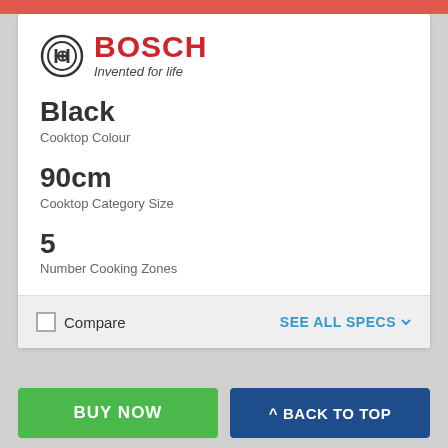[Figure (logo): Bosch logo: circular emblem with H symbol inside, red BOSCH text, tagline 'Invented for life']
Black
Cooktop Colour
90cm
Cooktop Category Size
5
Number Cooking Zones
Touch
Controls
Compare
SEE ALL SPECS ∨
BUY NOW
^ BACK TO TOP